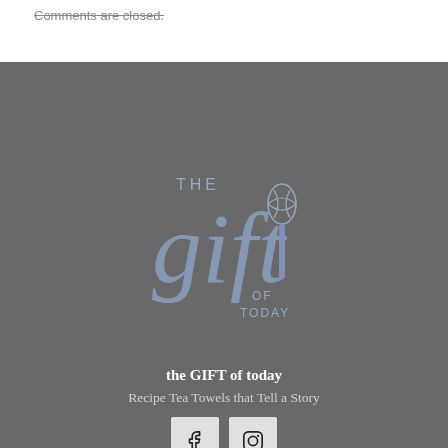Comments are closed.
[Figure (logo): The Gift of Today logo with cursive 'gift' text and whisk illustration]
the GIFT of today
Recipe Tea Towels that Tell a Story
[Figure (other): Social media icons: Facebook and Instagram]